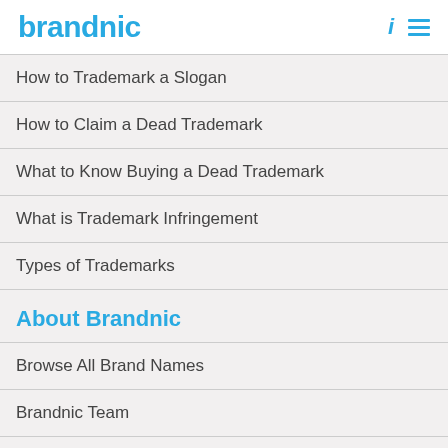brandnic
How to Trademark a Slogan
How to Claim a Dead Trademark
What to Know Buying a Dead Trademark
What is Trademark Infringement
Types of Trademarks
About Brandnic
Browse All Brand Names
Brandnic Team
Testimonials
FAQs
Contact Us